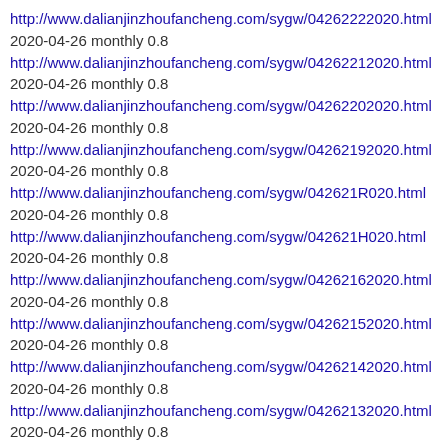http://www.dalianjinzhoufancheng.com/sygw/04262222020.html
2020-04-26 monthly 0.8
http://www.dalianjinzhoufancheng.com/sygw/04262212020.html
2020-04-26 monthly 0.8
http://www.dalianjinzhoufancheng.com/sygw/04262202020.html
2020-04-26 monthly 0.8
http://www.dalianjinzhoufancheng.com/sygw/04262192020.html
2020-04-26 monthly 0.8
http://www.dalianjinzhoufancheng.com/sygw/042621R020.html
2020-04-26 monthly 0.8
http://www.dalianjinzhoufancheng.com/sygw/042621H020.html
2020-04-26 monthly 0.8
http://www.dalianjinzhoufancheng.com/sygw/04262162020.html
2020-04-26 monthly 0.8
http://www.dalianjinzhoufancheng.com/sygw/04262152020.html
2020-04-26 monthly 0.8
http://www.dalianjinzhoufancheng.com/sygw/04262142020.html
2020-04-26 monthly 0.8
http://www.dalianjinzhoufancheng.com/sygw/04262132020.html
2020-04-26 monthly 0.8
http://www.dalianjinzhoufancheng.com/sygw/04262122020.html
2020-04-26 monthly 0.8
http://www.dalianjinzhoufancheng.com/fx/04252112020.html
2020-04-25 monthly 0.8
http://www.dalianjinzhoufancheng.com/fx/04252102020.html